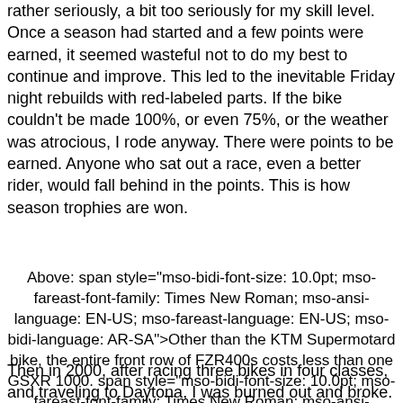rather seriously, a bit too seriously for my skill level. Once a season had started and a few points were earned, it seemed wasteful not to do my best to continue and improve. This led to the inevitable Friday night rebuilds with red-labeled parts. If the bike couldn't be made 100%, or even 75%, or the weather was atrocious, I rode anyway. There were points to be earned. Anyone who sat out a race, even a better rider, would fall behind in the points. This is how season trophies are won.
Above: span style="mso-bidi-font-size: 10.0pt; mso-fareast-font-family: Times New Roman; mso-ansi-language: EN-US; mso-fareast-language: EN-US; mso-bidi-language: AR-SA">Other than the KTM Supermotard bike, the entire front row of FZR400s costs less than one GSXR 1000. span style="mso-bidi-font-size: 10.0pt; mso-fareast-font-family: Times New Roman; mso-ansi-language: EN-US; mso-fareast-language: EN-US; mso-bidi-language: AR-SA">
Then in 2000, after racing three bikes in four classes, and traveling to Daytona, I was burned out and broke. I made a